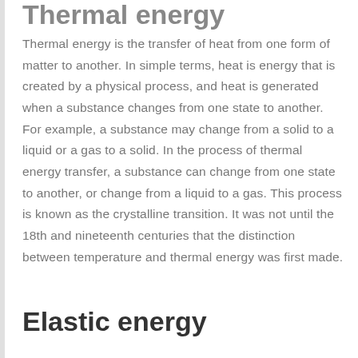Thermal energy
Thermal energy is the transfer of heat from one form of matter to another. In simple terms, heat is energy that is created by a physical process, and heat is generated when a substance changes from one state to another. For example, a substance may change from a solid to a liquid or a gas to a solid. In the process of thermal energy transfer, a substance can change from one state to another, or change from a liquid to a gas. This process is known as the crystalline transition. It was not until the 18th and nineteenth centuries that the distinction between temperature and thermal energy was first made.
Elastic energy